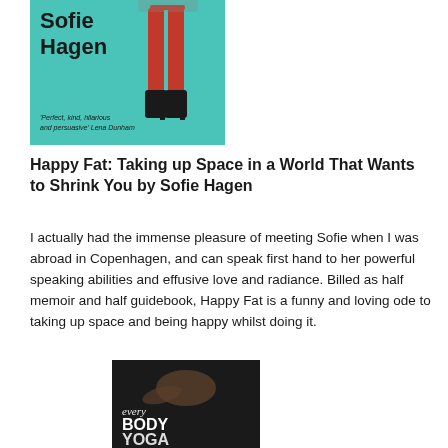[Figure (photo): Book cover for 'Happy Fat' by Sofie Hagen — teal/turquoise background with the author's name in bold black, person's legs in red trousers and black boots visible, with quote 'Perfect, kind, hilarious and persuasive' Lena Dunham]
Happy Fat: Taking up Space in a World That Wants to Shrink You by Sofie Hagen
I actually had the immense pleasure of meeting Sofie when I was abroad in Copenhagen, and can speak first hand to her powerful speaking abilities and effusive love and radiance. Billed as half memoir and half guidebook, Happy Fat is a funny and loving ode to taking up space and being happy whilst doing it.
[Figure (photo): Book cover for 'every BODY YOGA' — dark background with a person lying down doing a yoga pose, text reads 'every BODY YOGA']